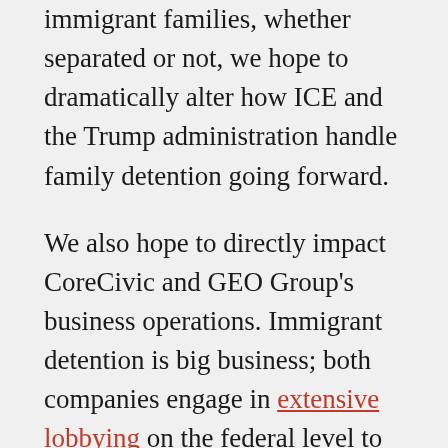immigrant families, whether separated or not, we hope to dramatically alter how ICE and the Trump administration handle family detention going forward.
We also hope to directly impact CoreCivic and GEO Group's business operations. Immigrant detention is big business; both companies engage in extensive lobbying on the federal level to obtain and retain lucrative contracts. CoreCivic receives around 25 percent of its gross revenue from ICE, while GEO receives almost 20 percent.
Simply put, we believe that incarcerating people for the purpose of generating corporate profit is immoral and